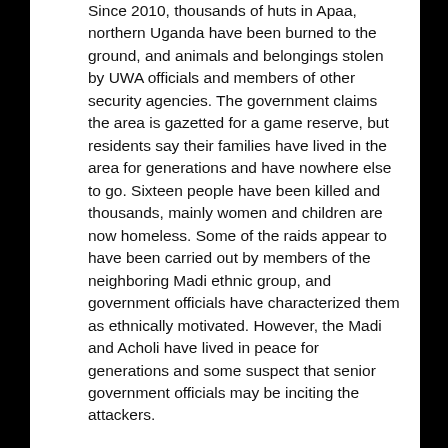Since 2010, thousands of huts in Apaa, northern Uganda have been burned to the ground, and animals and belongings stolen by UWA officials and members of other security agencies. The government claims the area is gazetted for a game reserve, but residents say their families have lived in the area for generations and have nowhere else to go. Sixteen people have been killed and thousands, mainly women and children are now homeless. Some of the raids appear to have been carried out by members of the neighboring Madi ethnic group, and government officials have characterized them as ethnically motivated. However, the Madi and Acholi have lived in peace for generations and some suspect that senior government officials may be inciting the attackers.
Meanwhile, CITES, the international body that tracks endangered species has named Uganda as a global hub for the illegal wildlife trade. After damning reports about the scale of poaching in Kenya and Tanzania revealed that elephant populations were plummeting in both countries,